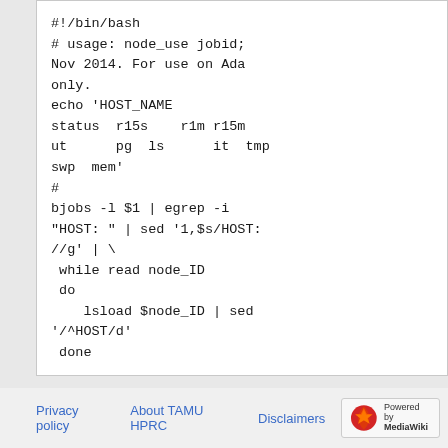#!/bin/bash
# usage: node_use jobid;
Nov 2014. For use on Ada
only.
echo 'HOST_NAME
status  r15s    r1m r15m
ut      pg  ls      it  tmp
swp  mem'
#
bjobs -l $1 | egrep -i
"HOST: " | sed '1,$s/HOST:
//g' | \
 while read node_ID
 do
    lsload $node_ID | sed
'/^HOST/d'
 done
Privacy policy  About TAMU HPRC  Disclaimers